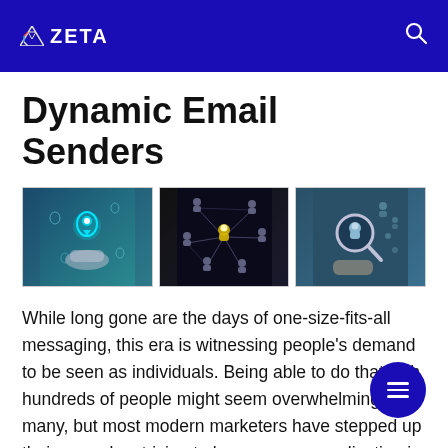ZETA
Dynamic Email Senders
[Figure (photo): Three images side by side: (1) A hand holding a glowing location pin with person icon against a teal digital map background; (2) Network of human silhouettes connected by lines on a dark background; (3) Hand holding a magnifying glass with a person icon, surrounded by digital network icons on a teal background.]
While long gone are the days of one-size-fits-all messaging, this era is witnessing people's demand to be seen as individuals. Being able to do that with hundreds of people might seem overwhelming to many, but most modern marketers have stepped up their game by striving to leverage personalization in emails that feel like they're custom-made for the